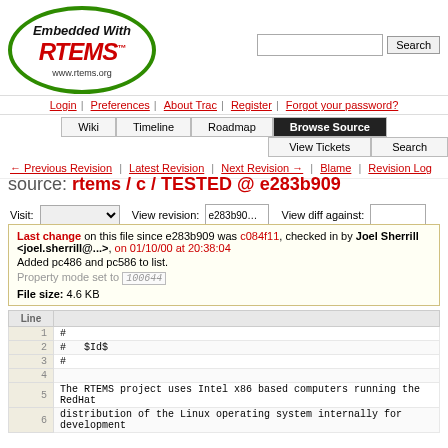[Figure (logo): RTEMS logo - oval with green border, text 'Embedded With' in bold italic, 'RTEMS' in large red bold italic with TM superscript, 'www.rtems.org' below]
Login | Preferences | About Trac | Register | Forgot your password?
Wiki | Timeline | Roadmap | Browse Source | View Tickets | Search
← Previous Revision | Latest Revision | Next Revision → | Blame | Revision Log
source: rtems / c / TESTED @ e283b909
Visit:   View revision: e283b909  View diff against:
Last change on this file since e283b909 was c084f11, checked in by Joel Sherrill <joel.sherrill@...>, on 01/10/00 at 20:38:04
Added pc486 and pc586 to list.
Property mode set to 100644
File size: 4.6 KB
| Line |  |
| --- | --- |
| 1 | # |
| 2 | #   $Id$ |
| 3 | # |
| 4 |  |
| 5 | The RTEMS project uses Intel x86 based computers running the RedHat |
| 6 | distribution of the Linux operating system internally for development |